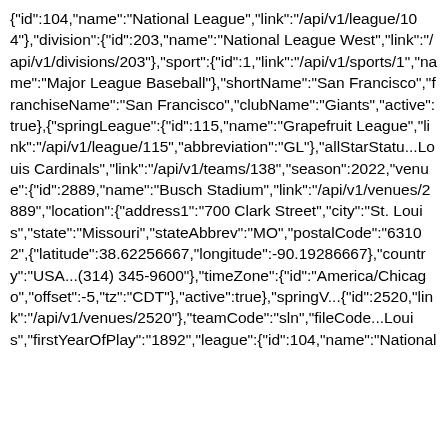{"id":104,"name":"National League","link":"/api/v1/league/104"},"division":{"id":203,"name":"National League West","link":"/api/v1/divisions/203"},"sport":{"id":1,"link":"/api/v1/sports/1","name":"Major League Baseball"},"shortName":"San Francisco","franchiseName":"San Francisco","clubName":"Giants","active":true},{"springLeague":{"id":115,"name":"Grapefruit League","link":"/api/v1/league/115","abbreviation":"GL"},"allStarStatus...Louis Cardinals","link":"/api/v1/teams/138","season":2022,"venue":{"id":2889,"name":"Busch Stadium","link":"/api/v1/venues/2889","location":{"address1":"700 Clark Street","city":"St. Louis","state":"Missouri","stateAbbrev":"MO","postalCode":"63102",{"latitude":38.62256667,"longitude":-90.19286667},"country":"USA...(314) 345-9600"},"timeZone":{"id":"America/Chicago","offset":-5,"tz":"CDT"},"active":true},"springV...{"id":2520,"link":"/api/v1/venues/2520"},"teamCode":"sln","fileCode...Louis","firstYearOfPlay":"1892","league":{"id":104,"name":"National...